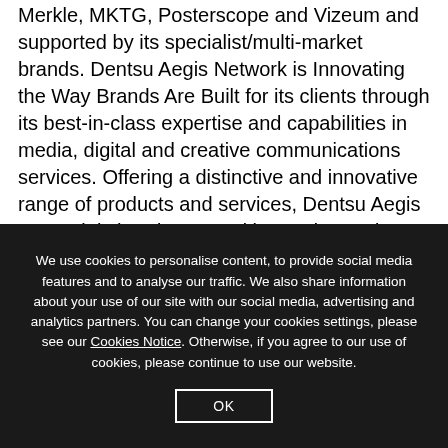Merkle, MKTG, Posterscope and Vizeum and supported by its specialist/multi-market brands. Dentsu Aegis Network is Innovating the Way Brands Are Built for its clients through its best-in-class expertise and capabilities in media, digital and creative communications services. Offering a distinctive and innovative range of products and services, Dentsu Aegis Network is headquartered in London and operates in 145 countries worldwide with around 30,000 dedicated specialists...
We use cookies to personalise content, to provide social media features and to analyse our traffic. We also share information about your use of our site with our social media, advertising and analytics partners. You can change your cookies settings, please see our Cookies Notice. Otherwise, if you agree to our use of cookies, please continue to use our website.